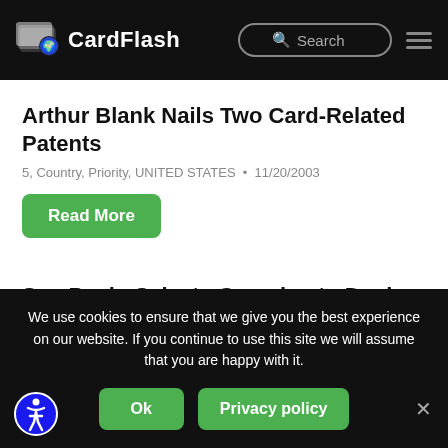CardFlash
Arthur Blank Nails Two Card-Related Patents
5, Country, Priority, UNITED STATES • 11/20/2003
Read More
Sao Paulo Selects Gemplus to Deploy an Smart Card-Based Fare System
5, BRAZIL, Country, Priority • 11/20/2003
We use cookies to ensure that we give you the best experience on our website. If you continue to use this site we will assume that you are happy with it.
Ok
Privacy policy